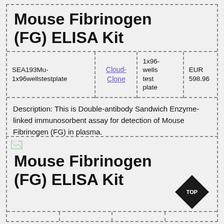Mouse Fibrinogen (FG) ELISA Kit
| Product ID | Supplier | Format | Price |
| --- | --- | --- | --- |
| SEA193Mu-1x96wellstestplate | Cloud-Clone | 1x96-wells test plate | EUR 598.96 |
Description: This is Double-antibody Sandwich Enzyme-linked immunosorbent assay for detection of Mouse Fibrinogen (FG) in plasma.
Mouse Fibrinogen (FG) ELISA Kit